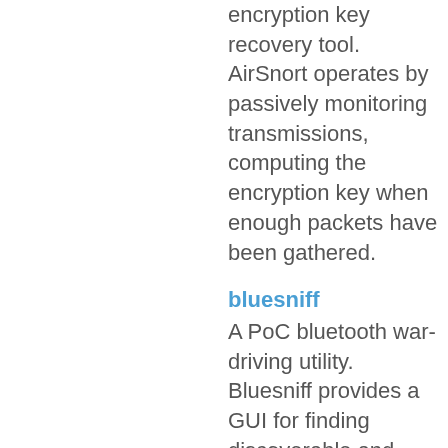encryption key recovery tool. AirSnort operates by passively monitoring transmissions, computing the encryption key when enough packets have been gathered.
bluesniff
A PoC bluetooth war-driving utility. Bluesniff provides a GUI for finding discoverable and hidden bluetooth devices. See the DefCon 11 presentation on Bluetooth wardriving for more